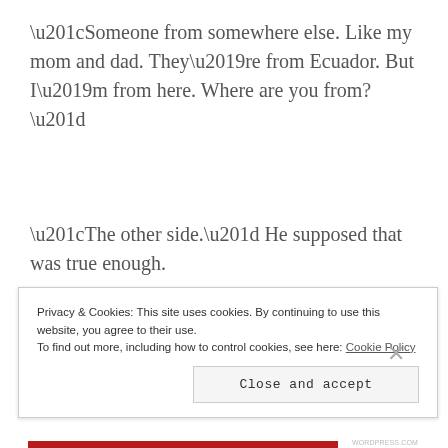“Someone from somewhere else. Like my mom and dad. They’re from Ecuador. But I’m from here. Where are you from?”
“The other side.” He supposed that was true enough.
“A Kit Kat is a chocolate bar. You eat it. See?” Marco, ignoring Justin’s odd response, tore open his own thing from the man
Privacy & Cookies: This site uses cookies. By continuing to use this website, you agree to their use.
To find out more, including how to control cookies, see here: Cookie Policy